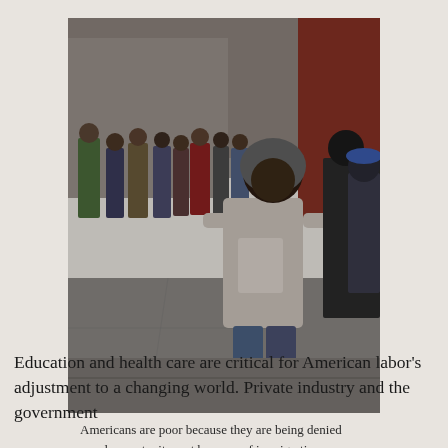[Figure (photo): Black and white / muted color photograph of a group of people standing in a line on a city sidewalk in cold weather, wearing heavy coats and hoodies. A man in the foreground wearing a hooded sweatshirt and jeans faces the camera. Brick buildings are visible in the background.]
Americans are poor because they are being denied equal opportunity, not because of immigration.
Education and health care are critical for American labor's adjustment to a changing world. Private industry and the government